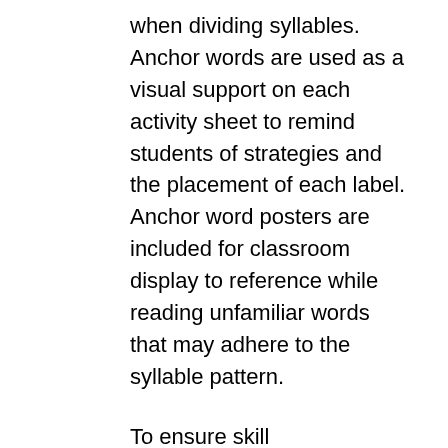when dividing syllables. Anchor words are used as a visual support on each activity sheet to remind students of strategies and the placement of each label. Anchor word posters are included for classroom display to reference while reading unfamiliar words that may adhere to the syllable pattern.
To ensure skill generalization to basic reading, on the same activity sheet, students break words (slash between syllables) BEFORE reading a word list then break WHILE reading sentences. Sight words are controlled in the series and consist primarily of